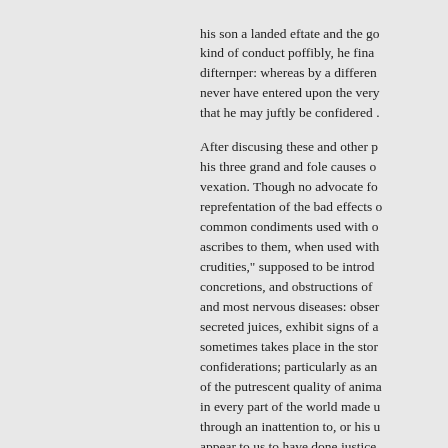his son a landed eftate and the go kind of conduct poffibly, he final difternper: whereas by a differen never have entered upon the very that he may juftly be confidered .
After discusing these and other p his three grand and fole causes o vexation. Though no advocate fo reprefentation of the bad effects common condiments used with o ascribes to them, when used with crudities," supposed to be introd concretions, and obstructions of and most nervous diseases: obser secreted juices, exhibit signs of a sometimes takes place in the stor confiderations; particularly as an of the putrescent quality of anima in every part of the world made u through an inattention to, or his u appear to us to have done justice extended it too far on the other, w